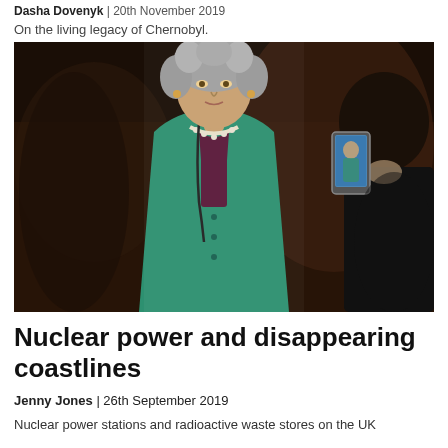Dasha Dovenyk | 20th November 2019
On the living legacy of Chernobyl.
[Figure (photo): A woman with curly grey hair wearing a teal/green jacket and pearl necklace, being photographed by someone holding a phone on the right side of the frame. Dark background with crowd.]
Nuclear power and disappearing coastlines
Jenny Jones | 26th September 2019
Nuclear power stations and radioactive waste stores on the UK